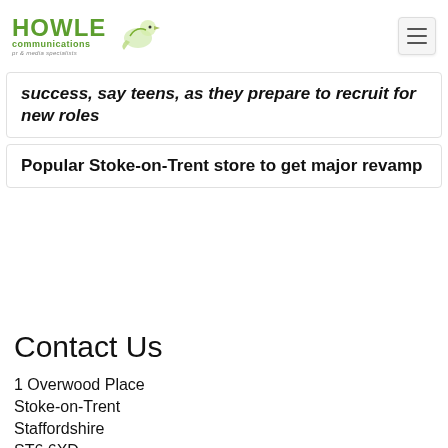Howle Communications — pr & media specialists
success, say teens, as they prepare to recruit for new roles
Popular Stoke-on-Trent store to get major revamp
Contact Us
1 Overwood Place
Stoke-on-Trent
Staffordshire
ST6 6XD